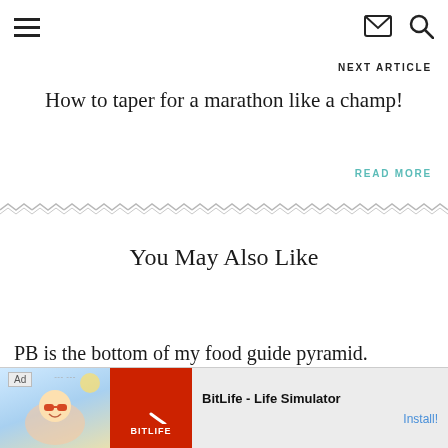≡  ✉ 🔍
NEXT ARTICLE
How to taper for a marathon like a champ!
READ MORE
[Figure (illustration): Decorative horizontal zigzag/chevron border pattern in gray]
You May Also Like
PB is the bottom of my food guide pyramid.
READ MORE
[Figure (infographic): Advertisement banner for BitLife - Life Simulator app with Ad label, cartoon character on left, red BitLife logo in center, app name and Install button on right]